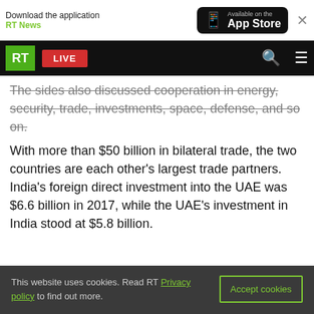Download the application RT News | Available on the App Store
RT LIVE
The sides also discussed cooperation in energy, security, trade, investments, space, defense, and so on.
With more than $50 billion in bilateral trade, the two countries are each other’s largest trade partners. India’s foreign direct investment into the UAE was $6.6 billion in 2017, while the UAE’s investment in India stood at $5.8 billion.
This website uses cookies. Read RT Privacy policy to find out more.